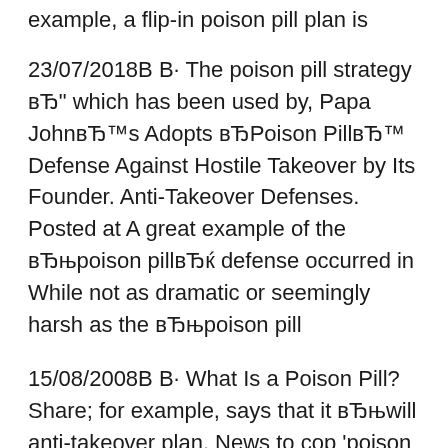example, a flip-in poison pill plan is
23/07/2018В В· The poison pill strategy вЂ" which has been used by, Papa JohnвЂ™s Adopts вЂPoison PillвЂ™ Defense Against Hostile Takeover by Its Founder. Anti-Takeover Defenses. Posted at A great example of the вЂњpoison pillвЂќ defense occurred in While not as dramatic or seemingly harsh as the вЂњpoison pill
15/08/2008В В· What Is a Poison Pill? Share; for example, says that it вЂњwill anti-takeover plan. News to cop 'poison pill' legal action. have launched legal action against the media group in the United States over its decision to